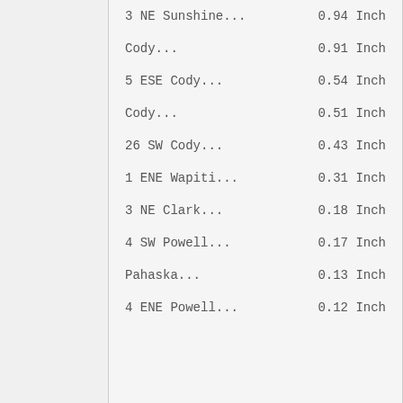| Location | Value |
| --- | --- |
| 3 NE Sunshine... | 0.94 Inch |
| Cody... | 0.91 Inch |
| 5 ESE Cody... | 0.54 Inch |
| Cody... | 0.51 Inch |
| 26 SW Cody... | 0.43 Inch |
| 1 ENE Wapiti... | 0.31 Inch |
| 3 NE Clark... | 0.18 Inch |
| 4 SW Powell... | 0.17 Inch |
| Pahaska... | 0.13 Inch |
| 4 ENE Powell... | 0.12 Inch |